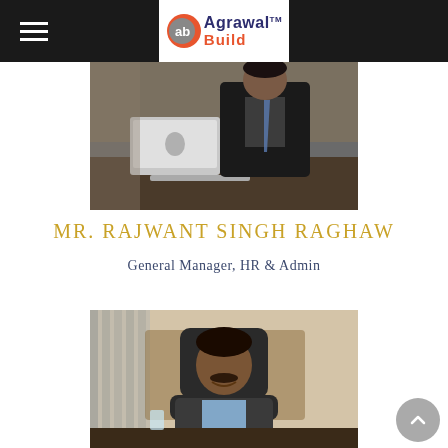Agrawal Build — Navigation header with hamburger menu and logo
[Figure (photo): Professional photo of Mr. Rajwant Singh Raghaw in a dark suit sitting at a desk with a MacBook laptop]
MR. RAJWANT SINGH RAGHAW
General Manager, HR & Admin
[Figure (photo): Professional photo of a man in a suit sitting in an office chair at a desk, smiling]